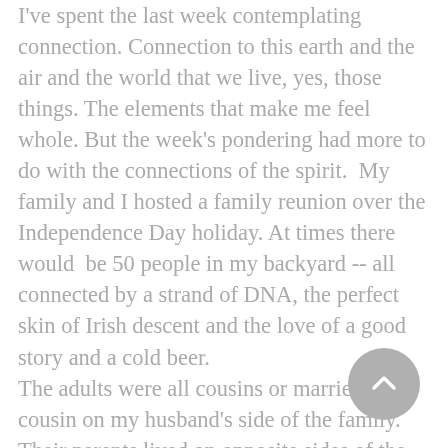I've spent the last week contemplating connection. Connection to this earth and the air and the world that we live, yes, those things. The elements that make me feel whole. But the week's pondering had more to do with the connections of the spirit. My family and I hosted a family reunion over the Independence Day holiday. At times there would be 50 people in my backyard -- all connected by a strand of DNA, the perfect skin of Irish descent and the love of a good story and a cold beer.
The adults were all cousins or married to a cousin on my husband's side of the family. Their parents lived on opposite sides of the country without the means of getting the young